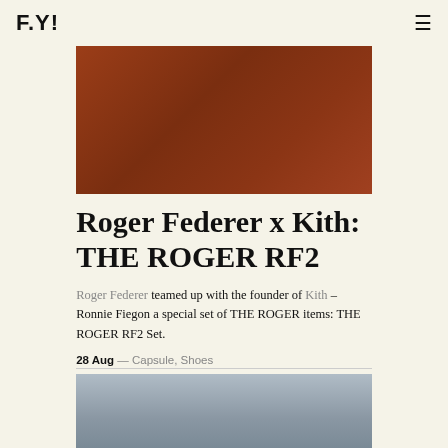F.Y!
[Figure (photo): Rust/terracotta brown textured surface, likely suede or leather material for the Roger Federer x Kith THE ROGER RF2 sneaker]
Roger Federer x Kith: THE ROGER RF2
Roger Federer teamed up with the founder of Kith – Ronnie Fiegon a special set of THE ROGER items: THE ROGER RF2 Set.
28 Aug — Capsule, Shoes
[Figure (photo): Portrait photo of a man, shown from shoulders up, with short dark hair against a gray background]